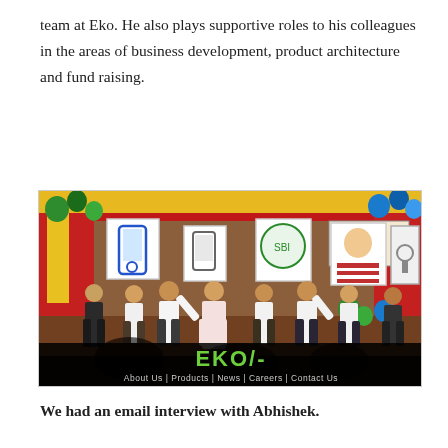team at Eko. He also plays supportive roles to his colleagues in the areas of business development, product architecture and fund raising.
[Figure (photo): Group photo of Eko India team members at an outdoor event, holding up illustrated signs/placards showing mobile phones, banking documents and other icons. Red and yellow tent/canopy decorations with balloons in background. Eko logo bar at bottom showing 'EKO/-' and navigation links: About Us | Products | News | Careers | Contact Us.]
We had an email interview with Abhishek.
Q1. Tell us something about Eko India. What was the driving point in starting this venture?